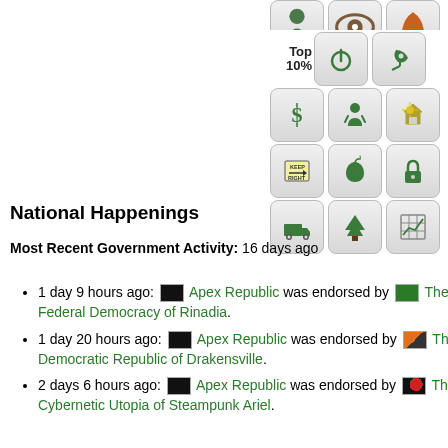[Figure (other): Grid of 4 rows of icon buttons showing various policy/category icons (tree person, eye, hand, Top 10%, power, satellite, dollar, person, sun/house, keep right sign, apple, lock, truck, tree, chart). Some icons are partially visible at top.]
National Happenings
Most Recent Government Activity: 16 days ago
1 day 9 hours ago: [flag] Apex Republic was endorsed by [flag] The Federal Democracy of Rinadia.
1 day 20 hours ago: [flag] Apex Republic was endorsed by [flag] The Democratic Republic of Drakensville.
2 days 6 hours ago: [flag] Apex Republic was endorsed by [flag] The Cybernetic Utopia of Steampunk Ariel.